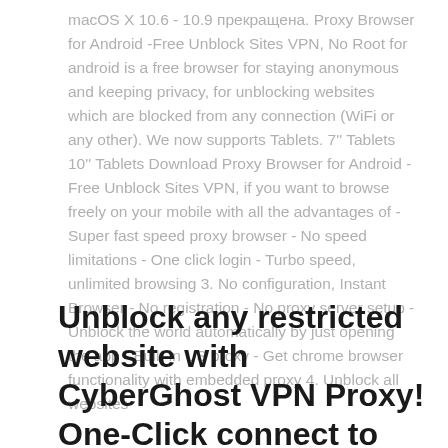macOS X 10.6 - 10.9 прекращена. Proxy Browser for Android -Free Unblock Sites VPN, No Root for android is a free browser for staying anonymous and keeping privacy, for unblocking websites which are blocked from any connection (WiFi or any other). We now supports Tablets. 7'' Tablets 10'' Tablets Download Proxy Browser for Android - Free Unblock Sites VPN, if you want to browse freely on your mobile with all the advantages of - Super fast speed proxy browser - No speed limitations - One click login - Turbo speed, unlimited browsing 3. No configuration, Instant Browser - No registration - No proxy server setup - Unblock the world automatically by just opening the app - Built-in US proxy - Get chrome browser functionality with embedded proxy 4. Unblock all websites
Unblock any restricted website with CyberGhost VPN Proxy! One-Click connect to secure your connection!